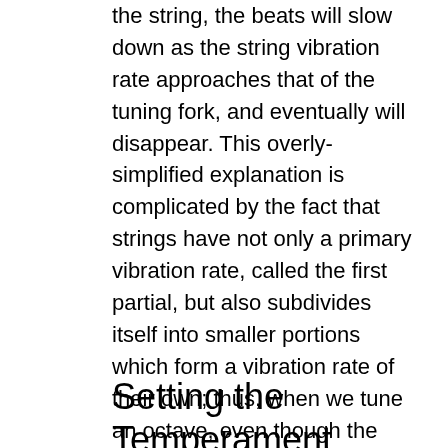the string, the beats will slow down as the string vibration rate approaches that of the tuning fork, and eventually will disappear. This overly-simplified explanation is complicated by the fact that strings have not only a primary vibration rate, called the first partial, but also subdivides itself into smaller portions which form a vibration rate of their own; thus, when we tune an octave, even though the high note is twice the vibration rate of the lower note, in practice we are able to tune it beatless. But dealing with that complication is for another article – maybe.
Setting the Temperament